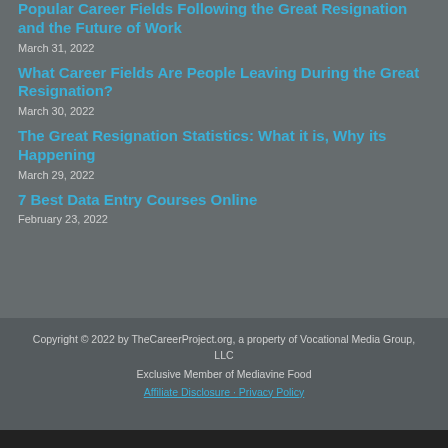Popular Career Fields Following the Great Resignation and the Future of Work
March 31, 2022
What Career Fields Are People Leaving During the Great Resignation?
March 30, 2022
The Great Resignation Statistics: What it is, Why its Happening
March 29, 2022
7 Best Data Entry Courses Online
February 23, 2022
Copyright © 2022 by TheCareerProject.org, a property of Vocational Media Group, LLC
Exclusive Member of Mediavine Food
Affiliate Disclosure · Privacy Policy